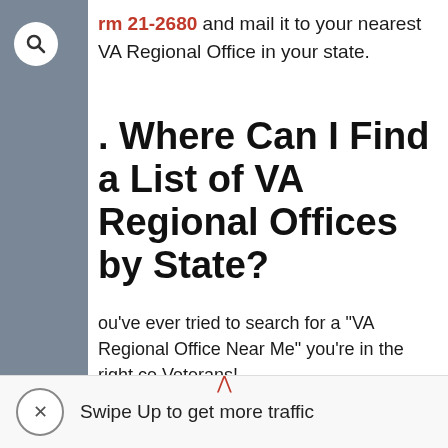rm 21-2680 and mail it to your nearest VA Regional Office in your state.
. Where Can I Find a List of VA Regional Offices by State?
ou've ever tried to search for a "VA Regional Office Near Me" you're in the right ce Veterans!
ch state has a VA Regional Office in a
Swipe Up to get more traffic